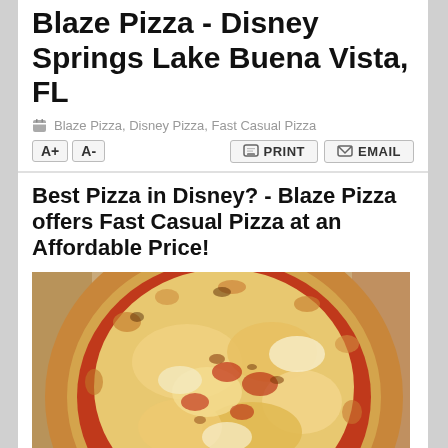Blaze Pizza - Disney Springs Lake Buena Vista, FL
Blaze Pizza, Disney Pizza, Fast Casual Pizza
A+ A-   PRINT   EMAIL
Best Pizza in Disney? - Blaze Pizza offers Fast Casual Pizza at an Affordable Price!
[Figure (photo): Close-up photo of a cheese and tomato pizza with golden crust on a cardboard box, showing melted mozzarella and tomato sauce.]